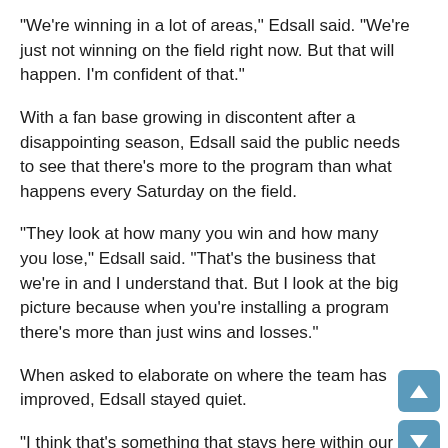"We're winning in a lot of areas," Edsall said. "We're just not winning on the field right now. But that will happen. I'm confident of that."
With a fan base growing in discontent after a disappointing season, Edsall said the public needs to see that there's more to the program than what happens every Saturday on the field.
"They look at how many you win and how many you lose," Edsall said. "That's the business that we're in and I understand that. But I look at the big picture because when you're installing a program there's more than just wins and losses."
When asked to elaborate on where the team has improved, Edsall stayed quiet.
"I think that's something that stays here within our family in terms of what our program is all about," Edsall said.
Regarding his comparison of UMD to UConn: